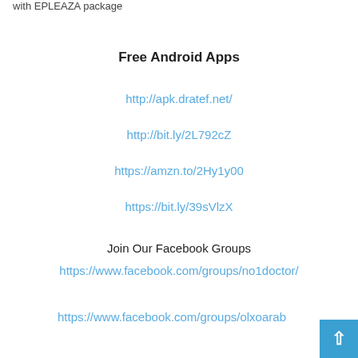with EPLEAZA package
Free Android Apps
http://apk.dratef.net/
http://bit.ly/2L792cZ
https://amzn.to/2Hy1y00
https://bit.ly/39sVlzX
Join Our Facebook Groups
https://www.facebook.com/groups/no1doctor/
https://www.facebook.com/groups/olxoarab